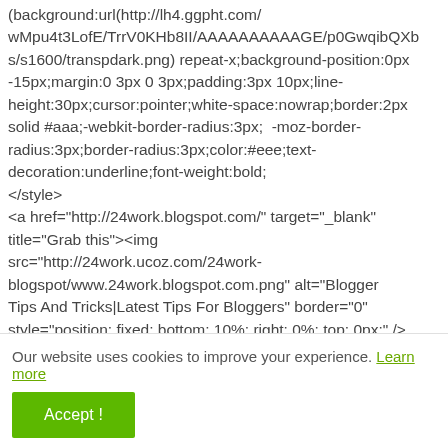(background:url(http://lh4.ggpht.com/wMpu4t3LofE/TrrV0KHb8II/AAAAAAAAAAGE/p0GwqibQXbs/s1600/transpdark.png) repeat-x;background-position:0px -15px;margin:0 3px 0 3px;padding:3px 10px;line-height:30px;cursor:pointer;white-space:nowrap;border:2px solid #aaa;-webkit-border-radius:3px;  -moz-border-radius:3px;border-radius:3px;color:#eee;text-decoration:underline;font-weight:bold; </style> <a href="http://24work.blogspot.com/" target="_blank" title="Grab this"><img src="http://24work.ucoz.com/24work-blogspot/www.24work.blogspot.com.png" alt="Blogger Tips And Tricks|Latest Tips For Bloggers" border="0" style="position: fixed; bottom: 10%; right: 0%; top: 0px;" />
Our website uses cookies to improve your experience. Learn more
Accept !